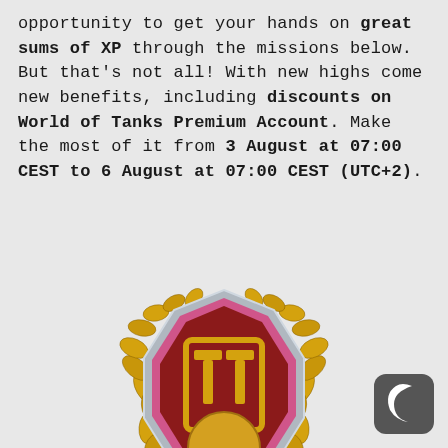opportunity to get your hands on great sums of XP through the missions below. But that's not all! With new highs come new benefits, including discounts on World of Tanks Premium Account. Make the most of it from 3 August at 07:00 CEST to 6 August at 07:00 CEST (UTC+2).
[Figure (illustration): World of Tanks Premium Account badge: a gold laurel wreath surrounding an octagonal emblem with a pink/magenta highlight border and dark red background, featuring the World of Tanks logo (tank silhouette and T letters) in gold. A small tank sits at the bottom center.]